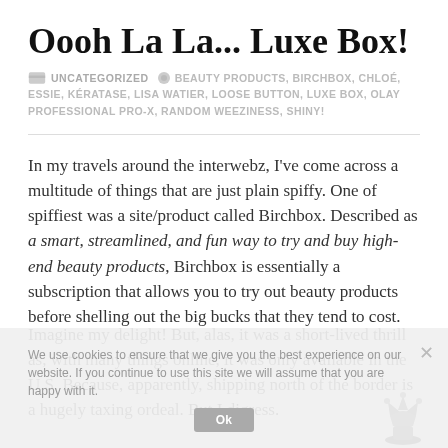Oooh La La... Luxe Box!
UNCATEGORIZED   BEAUTY PRODUCTS, BIRCHBOX, CHLOÉ, ESSIE, KÉRATASE, LISA WATIER, LOOSE BUTTON, LUXE BOX, OLAY PROFESSIONAL PRO-X, RANDOM WEEZINESS, SHINY!
In my travels around the interwebz, I've come across a multitude of things that are just plain spiffy. One of spiffiest was a site/product called Birchbox. Described as a smart, streamlined, and fun way to try and buy high-end beauty products, Birchbox is essentially a subscription that allows you to try out beauty products before shelling out the big bucks that they tend to cost.
Imagine my delight! But, alas, it was a short-lived thrill as, with many things online, it was only available in the U.S. Because, apparently, shipping north of the border is a hugely taxing ordeal. But I digress.
We use cookies to ensure that we give you the best experience on our website. If you continue to use this site we will assume that you are happy with it.